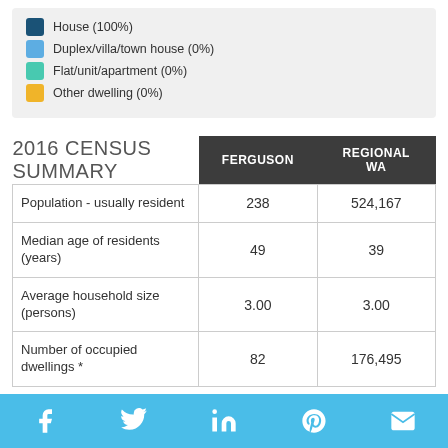[Figure (other): Legend showing dwelling types: House (100%), Duplex/villa/town house (0%), Flat/unit/apartment (0%), Other dwelling (0%)]
| 2016 CENSUS SUMMARY | FERGUSON | REGIONAL WA |
| --- | --- | --- |
| Population - usually resident | 238 | 524,167 |
| Median age of residents (years) | 49 | 39 |
| Average household size (persons) | 3.00 | 3.00 |
| Number of occupied dwellings * | 82 | 176,495 |
[Figure (other): Social media sharing bar with Facebook, Twitter, LinkedIn, Pinterest, and email icons]